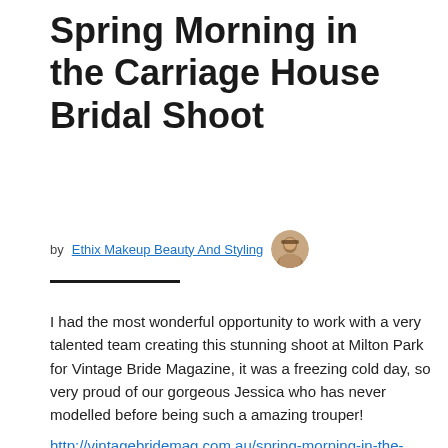Spring Morning in the Carriage House Bridal Shoot
by Ethix Makeup Beauty And Styling
I had the most wonderful opportunity to work with a very talented team creating this stunning shoot at Milton Park for Vintage Bride Magazine, it was a freezing cold day, so very proud of our gorgeous Jessica who has never modelled before being such a amazing trouper! http://vintagebridemag.com.au/spring-morning-in-the-carriage-house/ Venue Milton Park http://www.miltonpark.com.au/ https://www.facebook.com/pages/Park-Country-House-Hotel-Spa Photographer – Anton